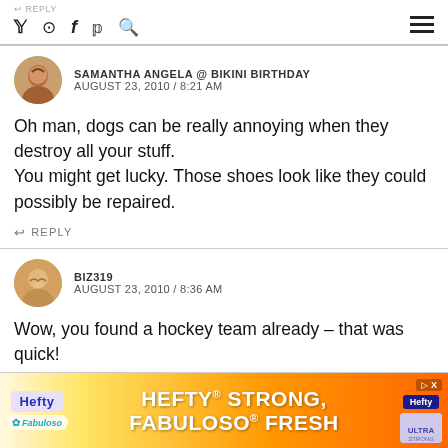REPLY | social icons | hamburger menu
SAMANTHA ANGELA @ BIKINI BIRTHDAY
AUGUST 23, 2010 / 8:21 AM
Oh man, dogs can be really annoying when they destroy all your stuff.
You might get lucky. Those shoes look like they could possibly be repaired.
REPLY
BIZ319
AUGUST 23, 2010 / 8:36 AM
Wow, you found a hockey team already – that was quick!
Aw, poor Lily – our dog doesn't like for me and Tony to sit toge...ween us, and
[Figure (screenshot): Hefty Fabuloso advertisement banner: HEFTY STRONG, FABULOSO FRESH]